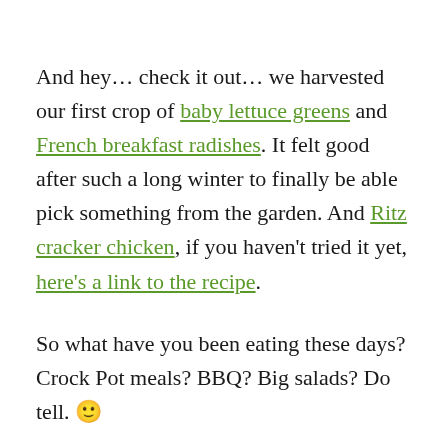And hey… check it out… we harvested our first crop of baby lettuce greens and French breakfast radishes. It felt good after such a long winter to finally be able pick something from the garden. And Ritz cracker chicken, if you haven't tried it yet, here's a link to the recipe.
So what have you been eating these days? Crock Pot meals? BBQ? Big salads? Do tell. 🙂
Have a great Monday everyone